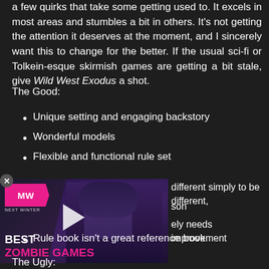a few quirks that take some getting used to. It excels in most areas and stumbles a bit in others. It's not getting the attention it deserves at the moment, and I sincerely want this to change for the better. If the usual sci-fi or Tolkein-esque skirmish games are getting a bit stale, give Wild West Exodus a shot.
The Good:
Unique setting and engaging backstory
Wonderful models
Flexible and functional rule set
[Figure (screenshot): Advertisement overlay showing a video thumbnail with a woman's face partially visible, MW logo in pink/magenta with arrow shape, play button triangle, and text BEST ZOMBIE GAMES in white and pink]
different simply to be different,
son
ely needs improvement
Rule book isn't a great reference book
The Ugly: